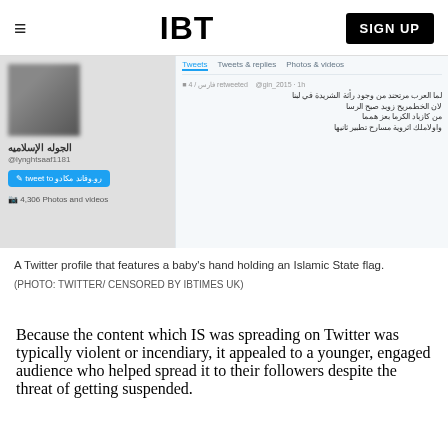IBT  SIGN UP
[Figure (screenshot): A Twitter profile page screenshot showing an Arabic-language account with a blurred profile picture, Arabic username, tweet button, photos count, and a tweet with Arabic text. Tabs show Tweets, Tweets & replies, Photos & videos.]
A Twitter profile that features a baby's hand holding an Islamic State flag. (PHOTO: TWITTER/ CENSORED BY IBTIMES UK)
Because the content which IS was spreading on Twitter was typically violent or incendiary, it appealed to a younger, engaged audience who helped spread it to their followers despite the threat of getting suspended.